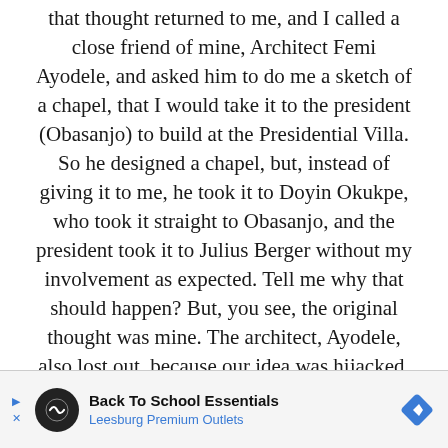that thought returned to me, and I called a close friend of mine, Architect Femi Ayodele, and asked him to do me a sketch of a chapel, that I would take it to the president (Obasanjo) to build at the Presidential Villa. So he designed a chapel, but, instead of giving it to me, he took it to Doyin Okukpe, who took it straight to Obasanjo, and the president took it to Julius Berger without my involvement as expected. Tell me why that should happen? But, you see, the original thought was mine. The architect, Ayodele, also lost out, because our idea was hijacked. But the important thing is that a chapel has been built. I have not even worshiped there (laughs).
You cheated death in the defunct, short-lived
[Figure (other): Advertisement banner: Back To School Essentials - Leesburg Premium Outlets, with circular logo and diamond directional sign icon]